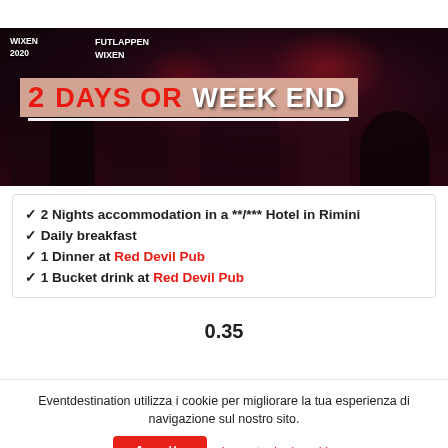[Figure (photo): Party/nightclub crowd photo with text overlay reading '2 DAYS OR WEEK END'. People wearing Futlappen Wixen 2020 shirts in a dark club setting with red lighting. Text labels: 'WIXEN 2020' (top left), 'FUTLAPPEN WIXEN' (top center).]
✓ 2 Nights accommodation in a **/*** Hotel in Rimini
✓ Daily breakfast
✓ 1 Dinner at Red Devil Pub
✓ 1 Bucket drink at Red Devil Pub
0.35
Eventdestination utilizza i cookie per migliorare la tua esperienza di navigazione sul nostro sito.
Accetta
Impostazioni cookie